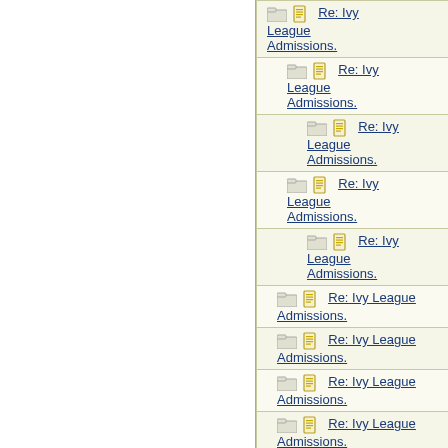| Subject | Author |
| --- | --- |
| Re: Ivy League Admissions. | HowlerK |
| Re: Ivy League Admissions. | Bostonia |
| Re: Ivy League Admissions. | Val |
| Re: Ivy League Admissions. | 22B |
| Re: Ivy League Admissions. | mithawk |
| Re: Ivy League Admissions. | HowlerK |
| Re: Ivy League Admissions. | Bostonia |
| Re: Ivy League Admissions. | HowlerK |
| Re: Ivy League Admissions. | Tigerle |
| Re: Ivy League Admissions. | arlen1 |